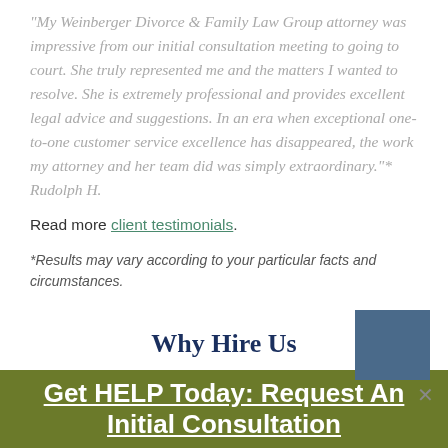“My Weinberger Divorce & Family Law Group attorney was impressive from our initial consultation meeting to going to court. She truly represented me and the matters I wanted to resolve. She is extremely professional and provides excellent legal advice and suggestions. In an era when exceptional one-to-one customer service excellence has disappeared, the work my attorney and her team did was simply extraordinary.”* Rudolph H.
Read more client testimonials.
*Results may vary according to your particular facts and circumstances.
Why Hire Us
Get HELP Today: Request An Initial Consultation